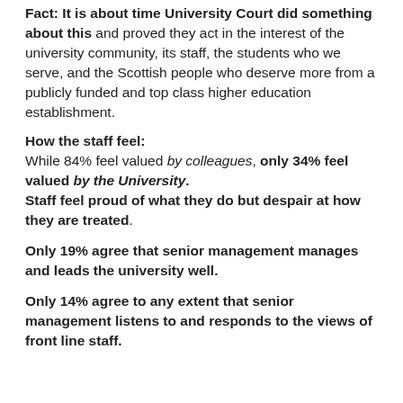Fact: It is about time University Court did something about this and proved they act in the interest of the university community, its staff, the students who we serve, and the Scottish people who deserve more from a publicly funded and top class higher education establishment.
How the staff feel:
While 84% feel valued by colleagues, only 34% feel valued by the University. Staff feel proud of what they do but despair at how they are treated.
Only 19% agree that senior management manages and leads the university well.
Only 14% agree to any extent that senior management listens to and responds to the views of front line staff.